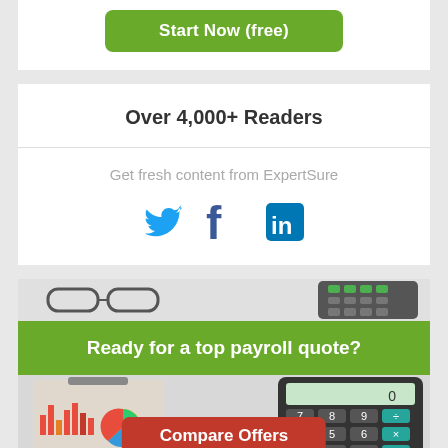[Figure (other): Green 'Start Now (free)' button at top of page]
Over 4,000+ Readers
Get fresh content from ExpertSure
[Figure (other): Social media icons: Twitter bird (blue), Facebook f (blue), LinkedIn in (blue square)]
[Figure (photo): Photo strip showing glasses, calculator, and office items on desk]
Ready for a top payroll quote?
[Figure (photo): Photo showing summary report with bar and pie charts, and a calculator]
Compare Offers